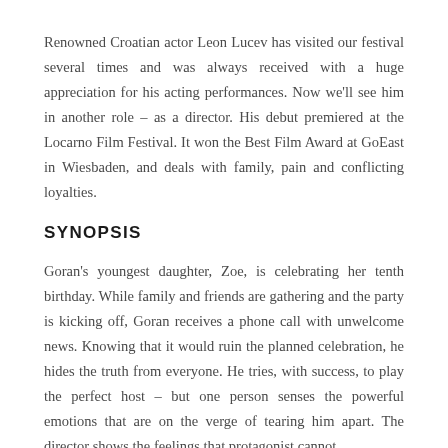Renowned Croatian actor Leon Lucev has visited our festival several times and was always received with a huge appreciation for his acting performances. Now we'll see him in another role – as a director. His debut premiered at the Locarno Film Festival. It won the Best Film Award at GoEast in Wiesbaden, and deals with family, pain and conflicting loyalties.
SYNOPSIS
Goran's youngest daughter, Zoe, is celebrating her tenth birthday. While family and friends are gathering and the party is kicking off, Goran receives a phone call with unwelcome news. Knowing that it would ruin the planned celebration, he hides the truth from everyone. He tries, with success, to play the perfect host – but one person senses the powerful emotions that are on the verge of tearing him apart. The director shows the feelings that protagonist cannot